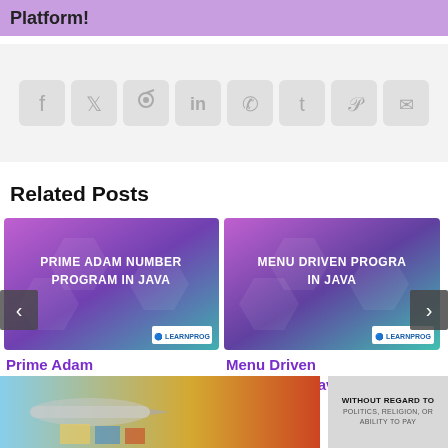Platform!
[Figure (infographic): Row of social media share icons: Facebook, Twitter, Reddit, LinkedIn, WhatsApp, Tumblr, Pinterest, Email]
Related Posts
[Figure (illustration): Programming tutorial card image with purple/teal gradient background and text: PRIME ADAM NUMBER PROGRAM IN JAVA]
Prime Adam Number in Java [
[Figure (illustration): Programming tutorial card image with purple/teal gradient background and text: MENU DRIVEN PROGRAM IN JAVA]
Menu Driven Program in Java [
[Figure (photo): Bottom strip: cargo airplane loading image on left, advertisement with text WITHOUT REGARD TO on right]